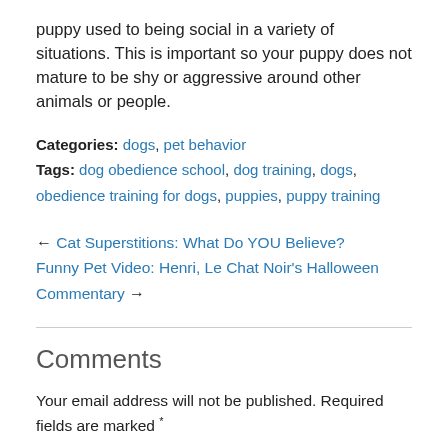puppy used to being social in a variety of situations. This is important so your puppy does not mature to be shy or aggressive around other animals or people.
Categories: dogs, pet behavior
Tags: dog obedience school, dog training, dogs, obedience training for dogs, puppies, puppy training
← Cat Superstitions: What Do YOU Believe?
Funny Pet Video: Henri, Le Chat Noir's Halloween Commentary →
Comments
Your email address will not be published. Required fields are marked *